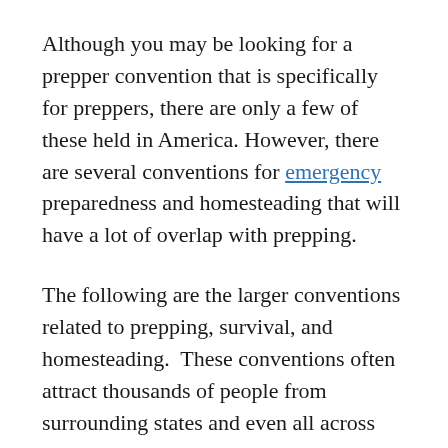Although you may be looking for a prepper convention that is specifically for preppers, there are only a few of these held in America. However, there are several conventions for emergency preparedness and homesteading that will have a lot of overlap with prepping.
The following are the larger conventions related to prepping, survival, and homesteading.  These conventions often attract thousands of people from surrounding states and even all across the country. However, you can usually find small prepping conventions that may not have as many vendors and exhibitors, but that doesn't mean that you won't find valuable information